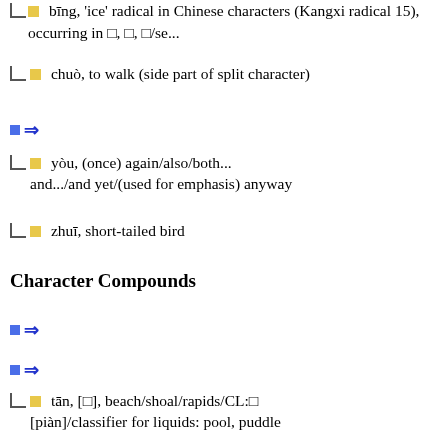□ bīng, 'ice' radical in Chinese characters (Kangxi radical 15), occurring in □, □, □/se...
□ chuò, to walk (side part of split character)
□ ⇒
□ yòu, (once) again/also/both.../and.../and yet/(used for emphasis) anyway
□ zhuī, short-tailed bird
Character Compounds
□ ⇒
□ ⇒
□ tān, [□], beach/shoal/rapids/CL:□[piàn]/classifier for liquids: pool, puddle